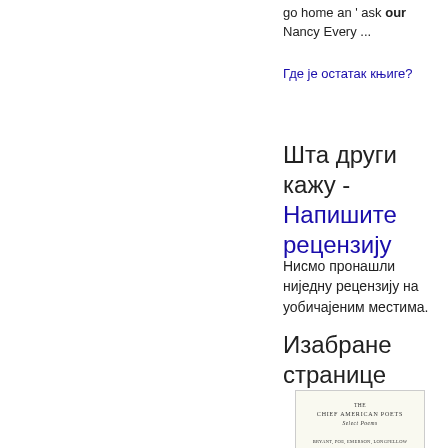go home an ' ask our Nancy Every ...
Где је остатак књиге?
Шта други кажу - Напишите рецензију
Нисмо пронашли ниједну рецензију на уобичајеним местима.
Изабране странице
[Figure (photo): Book cover of 'The Chief American Poets, Select Poems' with small text listing authors and publisher information, and a small emblem at the bottom.]